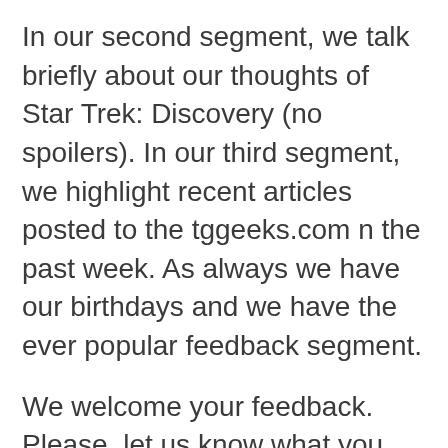In our second segment, we talk briefly about our thoughts of Star Trek: Discovery (no spoilers). In our third segment, we highlight recent articles posted to the tggeeks.com n the past week. As always we have our birthdays and we have the ever popular feedback segment.
We welcome your feedback. Please, let us know what you think. Good or bad, we want to know and you could receive a shoutout in the feedback segment. Thank you for listening, we really do appreciate you taking time out of your day to spend with us.